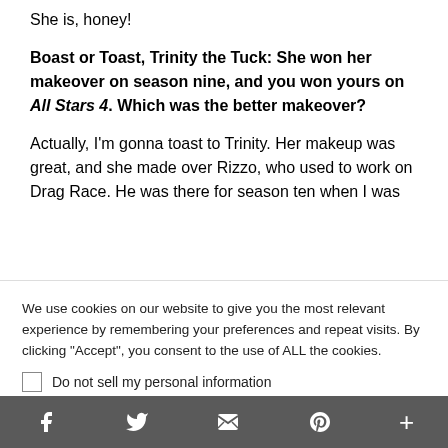She is, honey!
Boast or Toast, Trinity the Tuck: She won her makeover on season nine, and you won yours on All Stars 4. Which was the better makeover?
Actually, I'm gonna toast to Trinity. Her makeup was great, and she made over Rizzo, who used to work on Drag Race. He was there for season ten when I was there. Rizzo really knew… and Trinity did really well…
We use cookies on our website to give you the most relevant experience by remembering your preferences and repeat visits. By clicking "Accept", you consent to the use of ALL the cookies.
Do not sell my personal information
Cookie Settings | Accept